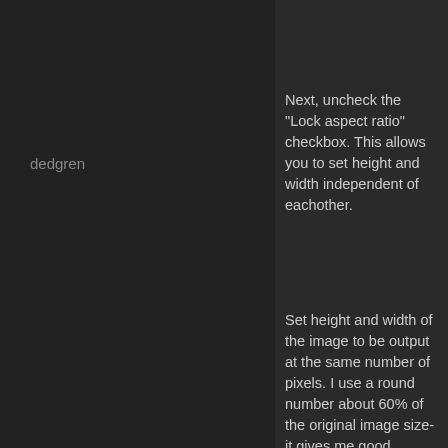[Figure (screenshot): Dark UI screenshot showing two panels: a dark left panel with watermark text 'dedgren', and a right text area with instructions about image settings.]
Next, uncheck the "Lock aspect ratio" checkbox. This allows you to set height and width independent of eachother.
Set height and width of the image to be output at the same number of pixels. I use a round number about 60% of the original image size- it gives me good results. If you don't like what you get, you are free to